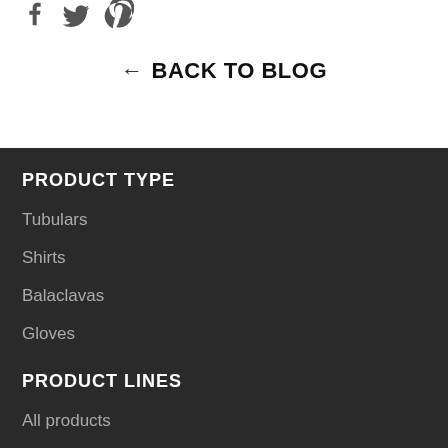[Figure (illustration): Social media icons: Facebook, Twitter, Pinterest]
← BACK TO BLOG
PRODUCT TYPE
Tubulars
Shirts
Balaclavas
Gloves
PRODUCT LINES
All products
GOT®Active